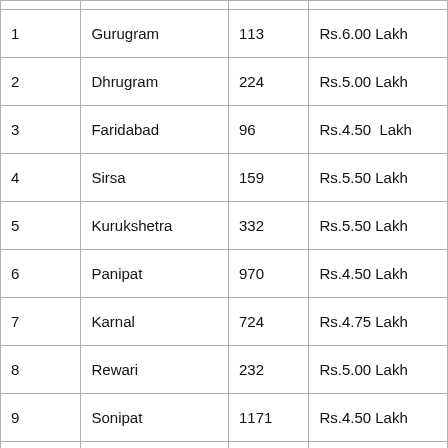|  |  |  |  |
| --- | --- | --- | --- |
| 1 | Gurugram | 113 | Rs.6.00 Lakh |
| 2 | Dhrugram | 224 | Rs.5.00 Lakh |
| 3 | Faridabad | 96 | Rs.4.50  Lakh |
| 4 | Sirsa | 159 | Rs.5.50 Lakh |
| 5 | Kurukshetra | 332 | Rs.5.50 Lakh |
| 6 | Panipat | 970 | Rs.4.50 Lakh |
| 7 | Karnal | 724 | Rs.4.75 Lakh |
| 8 | Rewari | 232 | Rs.5.00 Lakh |
| 9 | Sonipat | 1171 | Rs.4.50 Lakh |
| 10 | Rohtak | 654 | Rs.7.00 Lakh |
| 11 | Jhajhjar | 61 | Rs.6.00 Lakh |